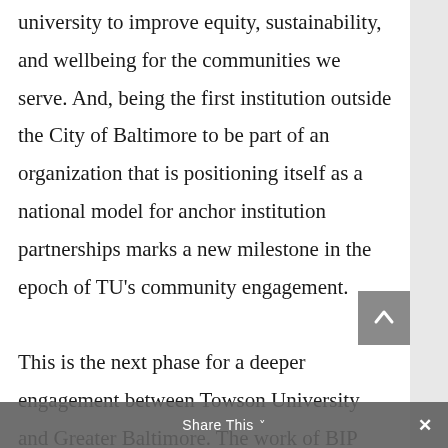university to improve equity, sustainability, and wellbeing for the communities we serve. And, being the first institution outside the City of Baltimore to be part of an organization that is positioning itself as a national model for anchor institution partnerships marks a new milestone in the epoch of TU's community engagement.

This is the next phase for a deeper engagement between Towson University and Greater Baltimore. The work of BIP clearly aligns with TU's metropolitan-serving mission and deep commitment to inclusion and equity. We're excited to start setting clear goals through BIP to enhance the work we've
Share This